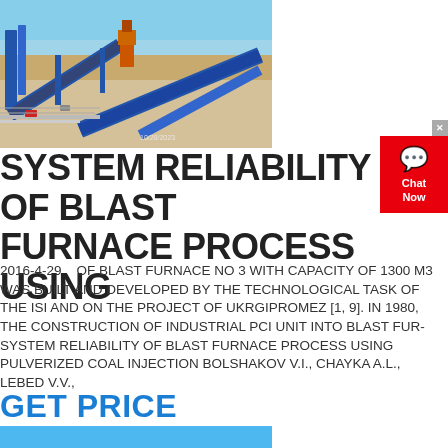[Figure (photo): Aerial/overhead view of an industrial mining or quarrying facility with blue conveyor belts and heavy machinery, dry landscape, dated 10/28/2023]
SYSTEM RELIABILITY OF BLAST FURNACE PROCESS USING
2016-4-29    OF BLAST FURNACE NO 3 WITH CAPACITY OF 1300 M3 WAS BUILT AND DEVELOPED BY THE TECHNOLOGICAL TASK OF THE ISI AND ON THE PROJECT OF UKRGIPROMEZ [1, 9]. IN 1980, THE CONSTRUCTION OF INDUSTRIAL PCI UNIT INTO BLAST FUR-SYSTEM RELIABILITY OF BLAST FURNACE PROCESS USING PULVERIZED COAL INJECTION BOLSHAKOV V.I., CHAYKA A.L., LEBED V.V.,
GET PRICE